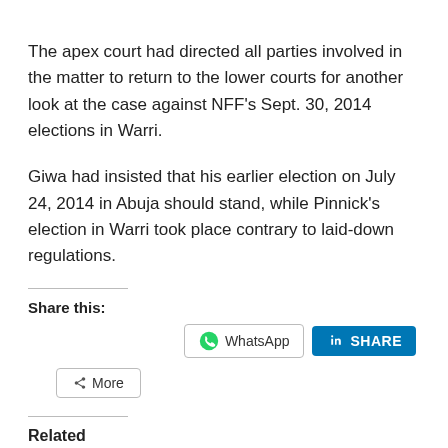The apex court had directed all parties involved in the matter to return to the lower courts for another look at the case against NFF's Sept. 30, 2014 elections in Warri.
Giwa had insisted that his earlier election on July 24, 2014 in Abuja should stand, while Pinnick's election in Warri took place contrary to laid-down regulations.
Share this:
[Figure (other): WhatsApp share button and LinkedIn Share button]
[Figure (other): More share options button]
Related
The curious case of a crisis-laden Nigeria Football
LATEST ON NFF LEADERSHIP TUSSLE